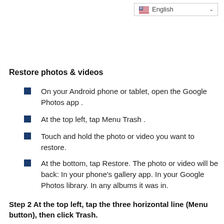English
Restore photos & videos
On your Android phone or tablet, open the Google Photos app .
At the top left, tap Menu Trash .
Touch and hold the photo or video you want to restore.
At the bottom, tap Restore. The photo or video will be back: In your phone's gallery app. In your Google Photos library. In any albums it was in.
Step 2 At the top left, tap the three horizontal line (Menu button), then click Trash.